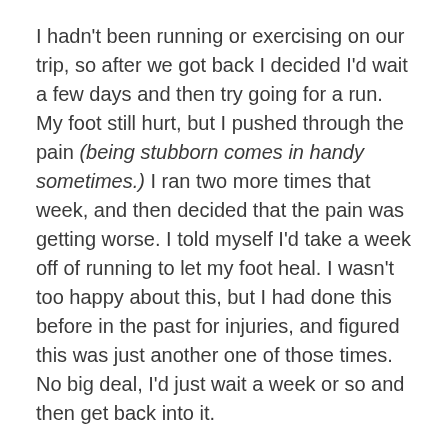I hadn't been running or exercising on our trip, so after we got back I decided I'd wait a few days and then try going for a run. My foot still hurt, but I pushed through the pain (being stubborn comes in handy sometimes.) I ran two more times that week, and then decided that the pain was getting worse. I told myself I'd take a week off of running to let my foot heal. I wasn't too happy about this, but I had done this before in the past for injuries, and figured this was just another one of those times. No big deal, I'd just wait a week or so and then get back into it.
I actually ended up waiting a week and a half before I got back out to go running one morning. I had not been having any pain for 4 or 5 days, so I was optimistic as I headed out on my 2.7 mile route. I